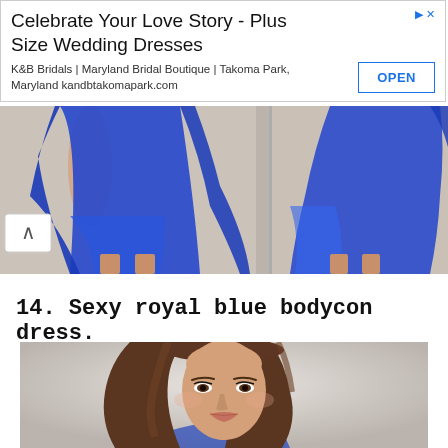[Figure (screenshot): Advertisement banner for K&B Bridals wedding dresses with OPEN button]
[Figure (photo): Two side-by-side photos showing a model wearing a royal blue flowy dress, showing from waist down, photographed from front and back against a grey background]
14. Sexy royal blue bodycon dress.
[Figure (photo): Close-up portrait photo of a brunette female model with long wavy hair, wearing a royal blue bodycon dress, photographed against a light grey/white background]